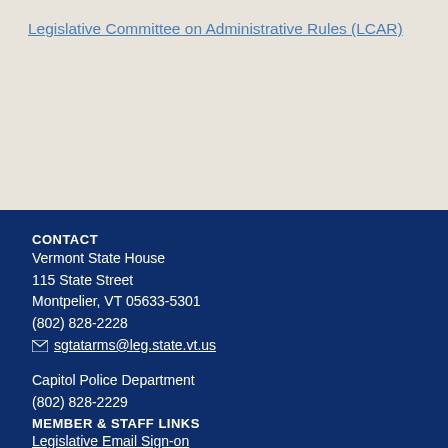Legislative Committee on Administrative Rules (LCAR)
CONTACT
Vermont State House
115 State Street
Montpelier, VT 05633-5301
(802) 828-2228
sgtatarms@leg.state.vt.us
Capitol Police Department
(802) 828-2229
MEMBER & STAFF LINKS
Legislative Email Sign-on